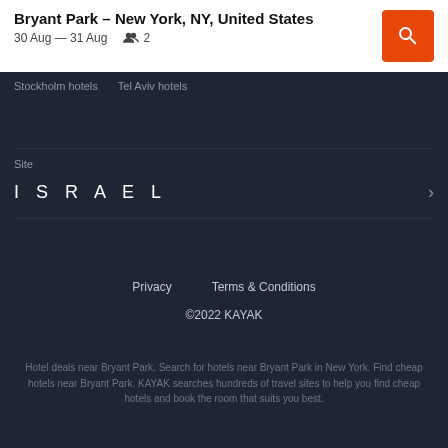Bryant Park – New York, NY, United States
30 Aug — 31 Aug  👥 2
Stockholm hotels   Tel Aviv hotels
Site
ISRAEL
Privacy   Terms & Conditions
©2022 KAYAK
Hotel deals near Bryant Park. Search for hotels near Bryant Park in New York. Find cheap hotels near Bryant Park. KAYAK searches hundreds of travel sites to help you find cheap hotels and book the room that suits you best.